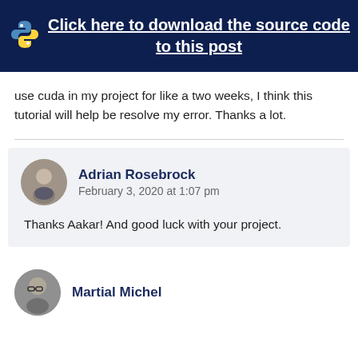[Figure (other): Banner with Python logo and download link text]
use cuda in my project for like a two weeks, I think this tutorial will help be resolve my error. Thanks a lot.
Adrian Rosebrock
February 3, 2020 at 1:07 pm

Thanks Aakar! And good luck with your project.
Martial Michel